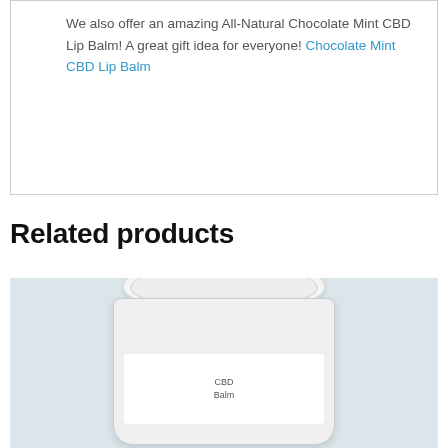We also offer an amazing All-Natural Chocolate Mint CBD Lip Balm! A great gift idea for everyone! Chocolate Mint CBD Lip Balm
Related products
[Figure (photo): Photo of a white CBD product jar/container against a light blue-grey background, partially cropped at the bottom of the page.]